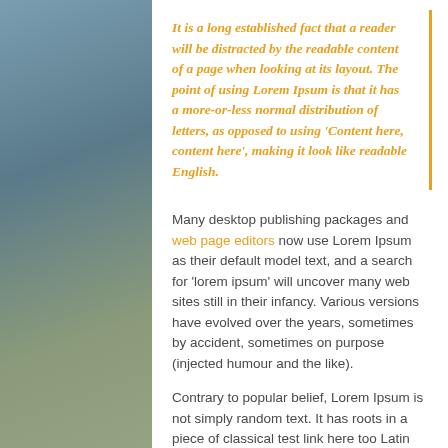It is a long established fact that a reader will be distracted by the readable content of a page when looking at its layout. The point of using Lorem Ipsum is that it has a more-or-less normal distribution of letters, as opposed to using 'Content here, content here', making it look like readable English.
Many desktop publishing packages and web page editors now use Lorem Ipsum as their default model text, and a search for 'lorem ipsum' will uncover many web sites still in their infancy. Various versions have evolved over the years, sometimes by accident, sometimes on purpose (injected humour and the like).
Contrary to popular belief, Lorem Ipsum is not simply random text. It has roots in a piece of classical test link here too Latin literature from 45 BC, making it over 2000 years old. Richard McClintock, a Latin professor at